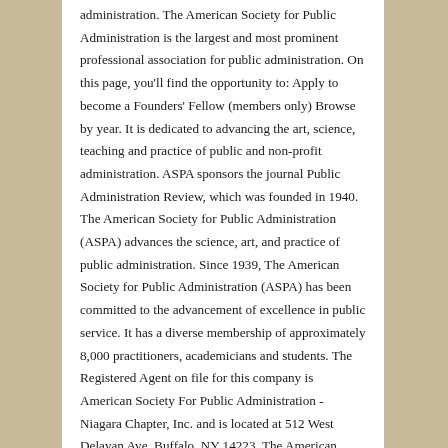administration. The American Society for Public Administration is the largest and most prominent professional association for public administration. On this page, you'll find the opportunity to: Apply to become a Founders' Fellow (members only) Browse by year. It is dedicated to advancing the art, science, teaching and practice of public and non-profit administration. ASPA sponsors the journal Public Administration Review, which was founded in 1940. The American Society for Public Administration (ASPA) advances the science, art, and practice of public administration. Since 1939, The American Society for Public Administration (ASPA) has been committed to the advancement of excellence in public service. It has a diverse membership of approximately 8,000 practitioners, academicians and students. The Registered Agent on file for this company is American Society For Public Administration - Niagara Chapter, Inc. and is located at 512 West Delavan Ave, Buffalo, NY 14223. The American Society for Public Administration is the largest and most prominent professional association for public administration. The